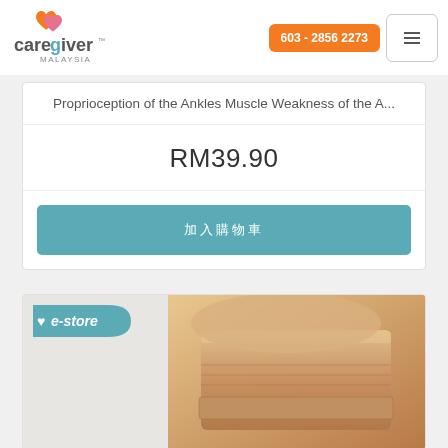[Figure (logo): Caregiver Malaysia logo with orange and pink heart icon]
603 - 2856 2273
Proprioception of the Ankles Muscle Weakness of the A...
RM39.90
加入购物车
[Figure (photo): Knee brace/elbow support in beige/skin color with e-store badge overlay]